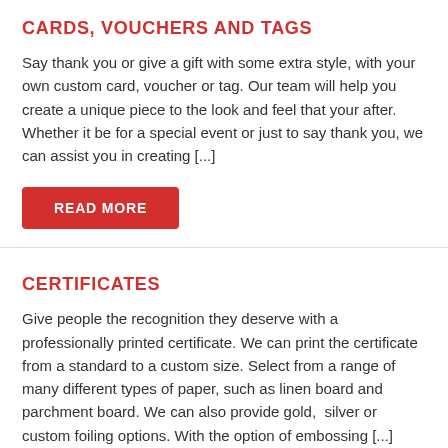CARDS, VOUCHERS AND TAGS
Say thank you or give a gift with some extra style, with your own custom card, voucher or tag. Our team will help you create a unique piece to the look and feel that your after. Whether it be for a special event or just to say thank you, we can assist you in creating [...]
READ MORE
CERTIFICATES
Give people the recognition they deserve with a professionally printed certificate. We can print the certificate from a standard to a custom size. Select from a range of many different types of paper, such as linen board and parchment board. We can also provide gold,  silver or custom foiling options. With the option of embossing [...]